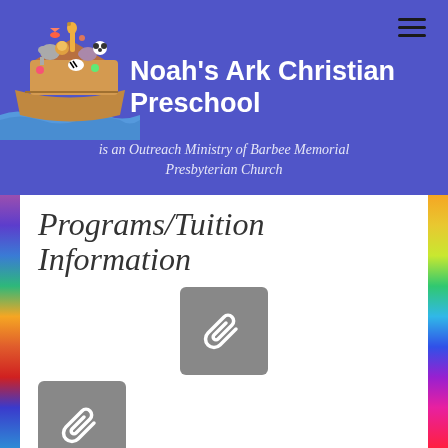Noah's Ark Christian Preschool — is an Outreach Ministry of Barbee Memorial Presbyterian Church
Programs/Tuition Information
[Figure (other): Attachment/paperclip icon button (grey rounded square) representing a downloadable document]
[Figure (other): Attachment/paperclip icon button (grey rounded square) representing a downloadable document]
Early Enrollment Form
Enrollment Form